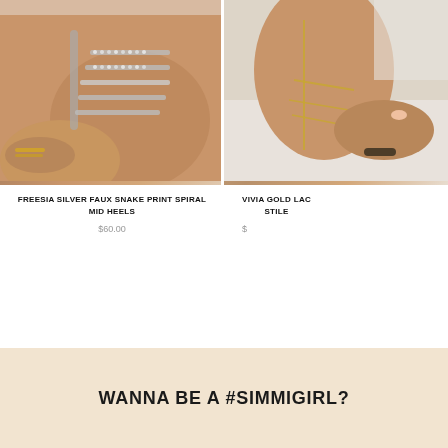[Figure (photo): Close-up photo of a person's legs with silver rhinestone spiral strappy mid heels being fastened, with hands and gold bracelets visible]
FREESIA SILVER FAUX SNAKE PRINT SPIRAL MID HEELS
$60.00
[Figure (photo): Close-up photo of a person's foot wearing gold lace-up stiletto heels, with a hand adjusting the strap and a dark bracelet visible]
VIVIA GOLD LAC... STILE...
$...
WANNA BE A #SIMMIGIRL?